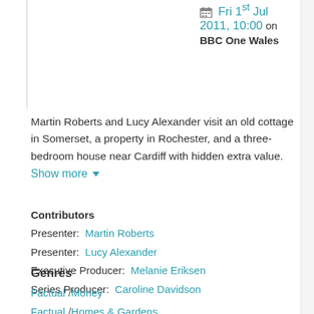Fri 1st Jul 2011, 10:00 on BBC One Wales
Martin Roberts and Lucy Alexander visit an old cottage in Somerset, a property in Rochester, and a three-bedroom house near Cardiff with hidden extra value. Show more
Contributors
Presenter:  Martin Roberts
Presenter:  Lucy Alexander
Executive Producer:  Melanie Eriksen
Series Producer:  Caroline Davidson
Genres
Factual / Money
Factual / Homes & Gardens
Factual / Homes & Gardens / Homes